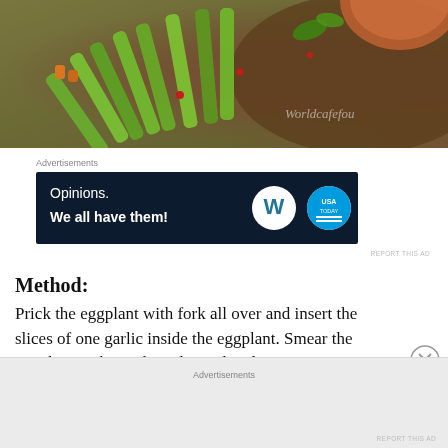[Figure (photo): Photo of cucumber sticks and vegetables arranged on a wooden board, with red pomegranate seeds. A bowl is partially visible in the upper right. Watermark reads 'Worldcafefou'.]
Advertisements
[Figure (other): Advertisement banner with dark navy background. Text reads: 'Opinions. We all have them!' with WordPress and USA Today logos on the right.]
REPORT THIS AD
Method:
Prick the eggplant with fork all over and insert the slices of one garlic inside the eggplant. Smear the eggplant with 1/2 tbsp olive oil and
Advertisements
REPORT THIS AD